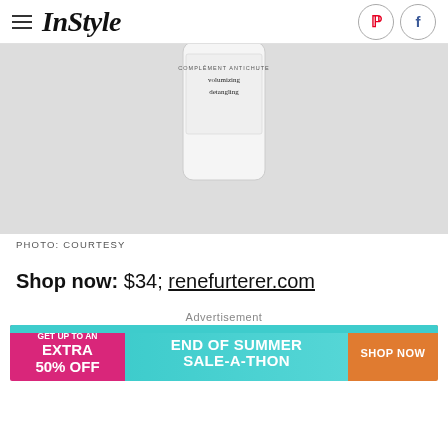InStyle
[Figure (photo): Hair conditioner bottle with green cap, white label reading detangling conditioner for thinning hair, 150ml/5.0 fl oz, photographed from above on light gray background]
PHOTO: COURTESY
Shop now: $34; renefurterer.com
Advertisement
[Figure (infographic): Advertisement banner: GET UP TO AN EXTRA 50% OFF | END OF SUMMER SALE-A-THON | SHOP NOW]